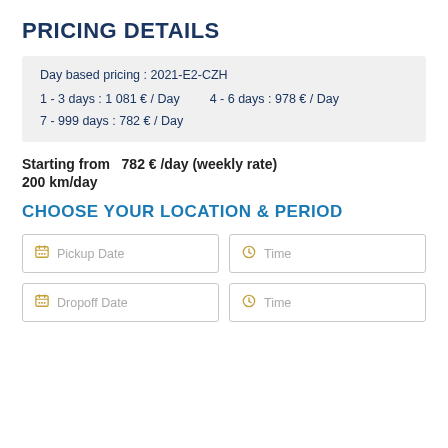PRICING DETAILS
Day based pricing : 2021-E2-CZH
1 - 3 days : 1 081 € / Day    4 - 6 days : 978 € / Day
7 - 999 days : 782 € / Day
Starting from  782 € /day (weekly rate)
200 km/day
CHOOSE YOUR LOCATION & PERIOD
Pickup Date   Time
Dropoff Date   Time